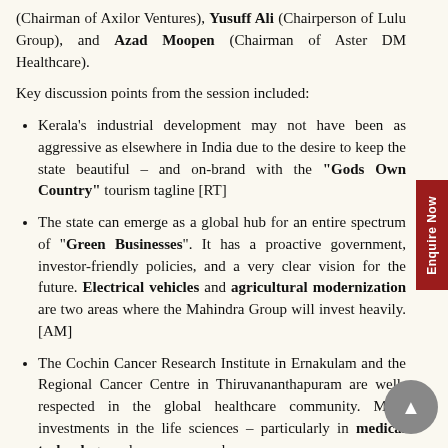(Chairman of Axilor Ventures), Yusuff Ali (Chairperson of Lulu Group), and Azad Moopen (Chairman of Aster DM Healthcare).
Key discussion points from the session included:
Kerala's industrial development may not have been as aggressive as elsewhere in India due to the desire to keep the state beautiful – and on-brand with the "Gods Own Country" tourism tagline [RT]
The state can emerge as a global hub for an entire spectrum of "Green Businesses". It has a proactive government, investor-friendly policies, and a very clear vision for the future. Electrical vehicles and agricultural modernization are two areas where the Mahindra Group will invest heavily. [AM]
The Cochin Cancer Research Institute in Ernakulam and the Regional Cancer Centre in Thiruvananthapuram are well-respected in the global healthcare community. More investments in the life sciences – particularly in medical technology and cancer research are